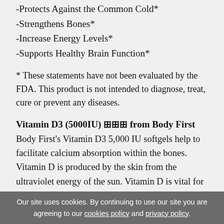-Protects Against the Common Cold*
-Strengthens Bones*
-Increase Energy Levels*
-Supports Healthy Brain Function*
* These statements have not been evaluated by the FDA. This product is not intended to diagnose, treat, cure or prevent any diseases.
Vitamin D3 (5000IU) ⊕⊕⊕ from Body First
Body First's Vitamin D3 5,000 IU softgels help to facilitate calcium absorption within the bones. Vitamin D is produced by the skin from the ultraviolet energy of the sun. Vitamin D is vital for those who avoid sun exposure, use sunscreen, live in places where sunlight is not prevalent and for the elderly.
Our site uses cookies. By continuing to use our site you are agreeing to our cookies policy and privacy policy.